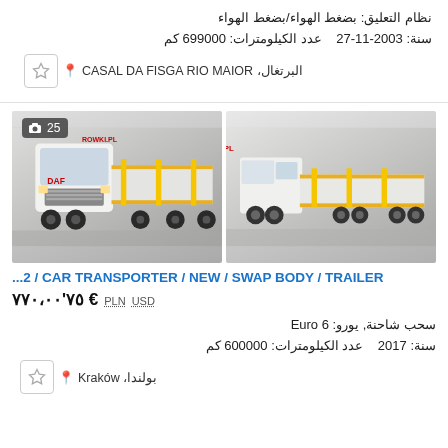نظام التعليق: بضغط الهواء/بضغط الهواء
سنة: 2003-11-27  عدد الكيلومترات: 699000 كم
البرتغال، CASAL DA FISGA RIO MAIOR
[Figure (photo): Two side-by-side photos of a white DAF truck with flatbed/car transporter trailer, parked in a lot. Left photo shows truck from side angle (EZAROWKI.PL logo visible). Right photo shows front-right angle (ROWKI.PL logo visible). A camera badge with '25' is overlaid on the right photo.]
...2 / CAR TRANSPORTER / NEW / SWAP BODY / TRAILER
€ ٧٥'٧٧٠،٠٠  PLN  USD
سحب شاحنة, يورو: Euro 6
سنة: 2017  عدد الكيلومترات: 600000 كم
بولندا، Kraków